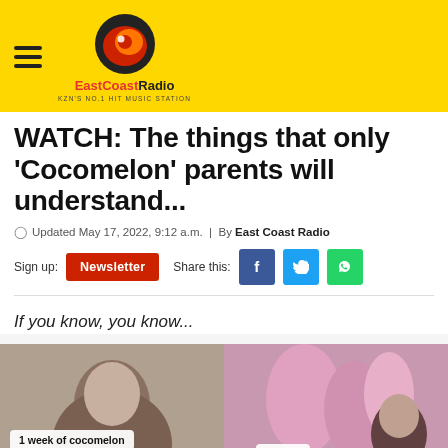EastCoastRadio — KZN'S NO.1 HIT MUSIC STATION
WATCH: The things that only 'Cocomelon' parents will understand...
Updated May 17, 2022, 9:12 a.m. | By East Coast Radio
Sign up: Newsletter | Share this: Facebook, Twitter, WhatsApp
If you know, you know...
[Figure (photo): Two-panel image: left panel shows a woman with text overlay '1 week of cocomelon', right panel shows a woman with pink balloons and text overlay '1 year..']